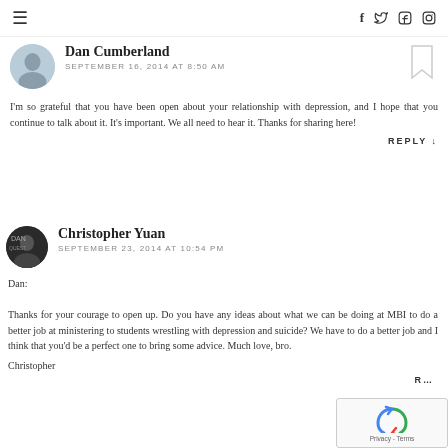≡  f  Twitter  in  Instagram
Dan Cumberland
SEPTEMBER 16, 2014 AT 8:50 AM
I'm so grateful that you have been open about your relationship with depression, and I hope that you continue to talk about it. It's important. We all need to hear it. Thanks for sharing here!
REPLY ↓
Christopher Yuan
SEPTEMBER 23, 2014 AT 10:54 PM
Dan:

Thanks for your courage to open up. Do you have any ideas about what we can be doing at MBI to do a better job at ministering to students wrestling with depression and suicide? We have to do a better job and I think that you'd be a perfect one to bring some advice. Much love, bro.

Christopher
R…